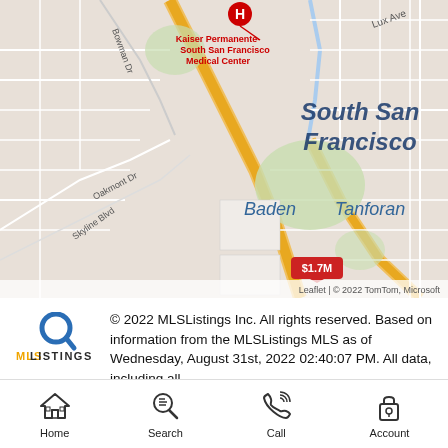[Figure (map): Street map of South San Francisco area showing Baden, Tanforan neighborhoods, Kaiser Permanente South San Francisco Medical Center, streets including Oakmont Dr, Skyline Blvd, Lux Ave, and a property listing pin showing $1.7M. Map attribution: Leaflet | © 2022 TomTom, Microsoft]
[Figure (logo): MLS Listings logo with magnifying glass icon in blue/gold colors]
© 2022 MLSListings Inc. All rights reserved. Based on information from the MLSListings MLS as of Wednesday, August 31st, 2022 02:40:07 PM. All data, including all
Home | Search | Call | Account